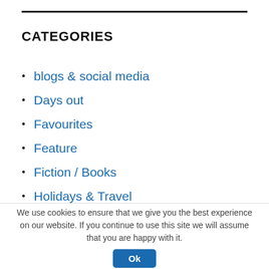CATEGORIES
blogs & social media
Days out
Favourites
Feature
Fiction / Books
Holidays & Travel
Just my two cents
Lockdown
Office Mum stories
Opinion
We use cookies to ensure that we give you the best experience on our website. If you continue to use this site we will assume that you are happy with it. Ok